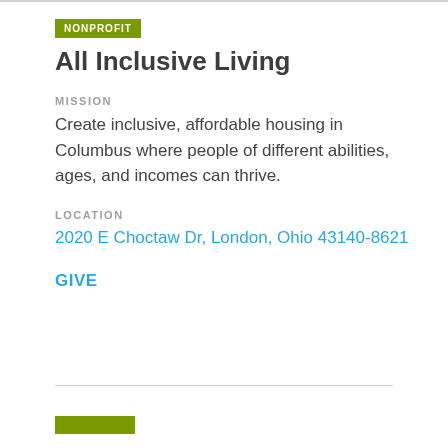NONPROFIT
All Inclusive Living
MISSION
Create inclusive, affordable housing in Columbus where people of different abilities, ages, and incomes can thrive.
LOCATION
2020 E Choctaw Dr, London, Ohio 43140-8621
GIVE